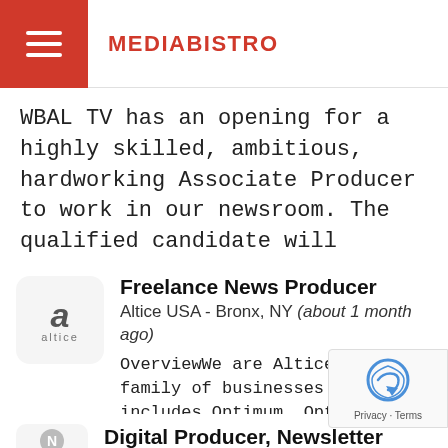MEDIABISTRO
WBAL TV has an opening for a highly skilled, ambitious, hardworking Associate Producer to work in our newsroom. The qualified candidate will assi...
Freelance News Producer
Altice USA - Bronx, NY (about 1 month ago)
OverviewWe are Altice USA; a family of businesses that includes Optimum, Optimum Mobile, Optimum Business, A4 advertising, Cheddar, and News12...
Digital Producer, Newsletter